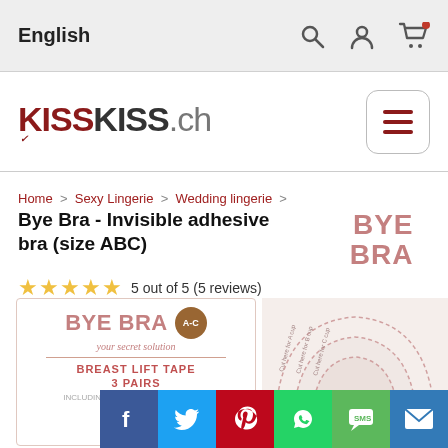English
[Figure (logo): KISSKISS.ch logo with hamburger menu button]
Home > Sexy Lingerie > Wedding lingerie >
Bye Bra - Invisible adhesive bra (size ABC)
5 out of 5 (5 reviews)
[Figure (photo): Bye Bra breast lift tape product packaging showing A-C badge, tagline 'your secret solution', BREAST LIFT TAPE, 3 PAIRS, INCLUDING 3 PAIRS OF SATIN NIPPLE COVERS]
[Figure (photo): Breast lift tape shape illustration showing curved tape pieces in pink/beige]
[Figure (other): Social sharing buttons: Facebook, Twitter, Pinterest, WhatsApp, SMS, Email]